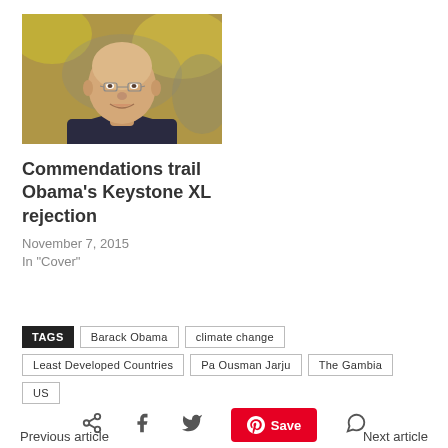[Figure (photo): Headshot of a smiling bald man with glasses, wearing a dark jacket, with blurred autumn foliage background]
Commendations trail Obama's Keystone XL rejection
November 7, 2015
In "Cover"
TAGS  Barack Obama  climate change  Least Developed Countries  Pa Ousman Jarju  The Gambia  US
Previous article  Next article